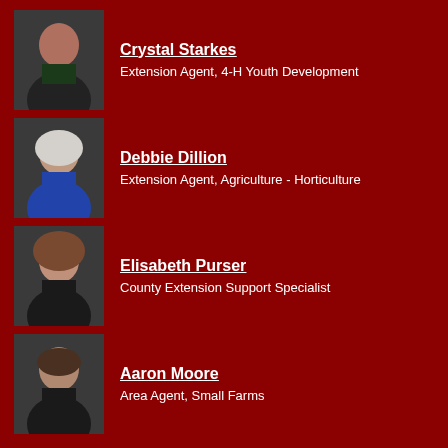[Figure (photo): Headshot of Crystal Starkes]
Crystal Starkes
Extension Agent, 4-H Youth Development
[Figure (photo): Headshot of Debbie Dillion]
Debbie Dillion
Extension Agent, Agriculture - Horticulture
[Figure (photo): Headshot of Elisabeth Purser]
Elisabeth Purser
County Extension Support Specialist
[Figure (photo): Headshot of Aaron Moore]
Aaron Moore
Area Agent, Small Farms
Let's Get In Touch
Union County Center
STREET ADDRESS:
MAILING ADDRESS: